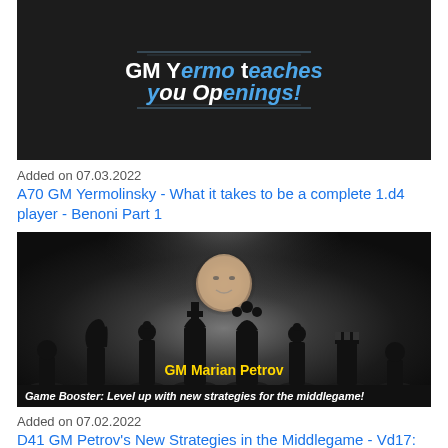[Figure (screenshot): Dark background thumbnail with the text 'GM Yermo teaches you Openings!' in bold white and blue italic text, with decorative lines above and below]
Added on 07.03.2022
A70 GM Yermolinsky - What it takes to be a complete 1.d4 player - Benoni Part 1
[Figure (screenshot): Black and white dramatic photo of GM Marian Petrov's face above chess piece silhouettes, with 'GM Marian Petrov' in gold text and a bottom bar reading 'Game Booster: Level up with new strategies for the middlegame!']
Added on 07.02.2022
D41 GM Petrov's New Strategies in the Middlegame - Vd17: